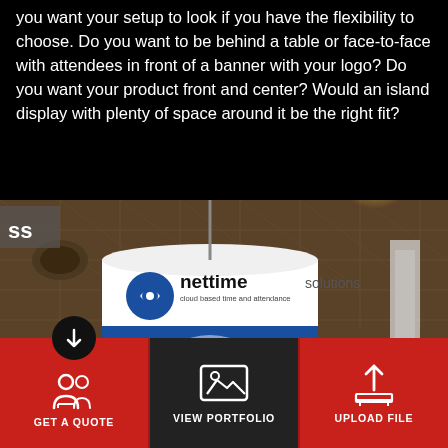you want your setup to look if you have the flexibility to choose. Do you want to be behind a table or face-to-face with attendees in front of a banner with your logo? Do you want your product front and center? Would an island display with plenty of space around it be the right fit?
[Figure (photo): Photo of a large cylindrical hanging display banner for 'nettime solutions – cloud based time and attendance' suspended from a convention center ceiling with grid-pattern ceiling tiles and spotlights visible in the background.]
GET A QUOTE
VIEW PORTFOLIO
UPLOAD FILE